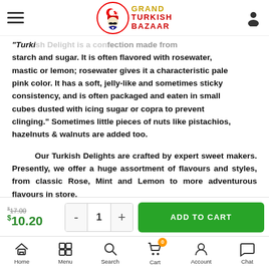Grand Turkish Bazaar
"Turkish Delight is a confection made from starch and sugar. It is often flavored with rosewater, mastic or lemon; rosewater gives it a characteristic pale pink color. It has a soft, jelly-like and sometimes sticky consistency, and is often packaged and eaten in small cubes dusted with icing sugar or copra to prevent clinging." Sometimes little pieces of nuts like pistachios, hazelnuts & walnuts are added too.
Our Turkish Delights are crafted by expert sweet makers. Presently, we offer a huge assortment of flavours and styles, from classic Rose, Mint and Lemon to more adventurous flavours in store.
Home  Menu  Search  Cart 0  Account  Chat